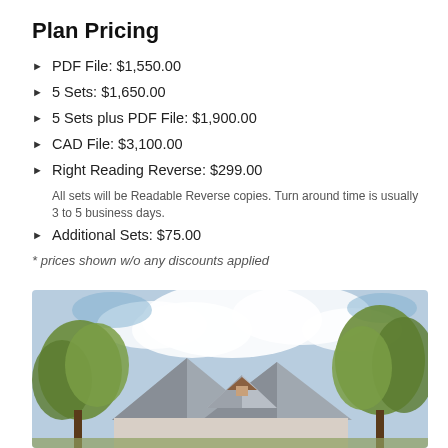Plan Pricing
PDF File: $1,550.00
5 Sets: $1,650.00
5 Sets plus PDF File: $1,900.00
CAD File: $3,100.00
Right Reading Reverse: $299.00
All sets will be Readable Reverse copies. Turn around time is usually 3 to 5 business days.
Additional Sets: $75.00
* prices shown w/o any discounts applied
[Figure (illustration): Watercolor illustration of a house with gabled roofs, surrounded by trees with a blue cloudy sky in the background]